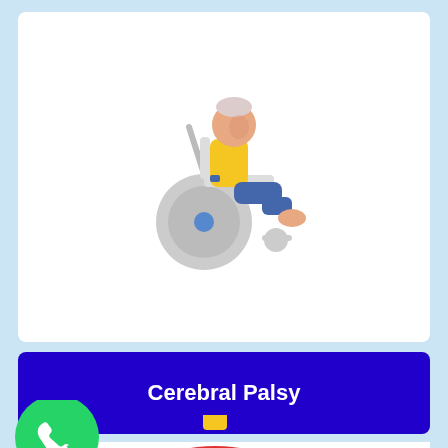[Figure (illustration): Flat illustration of a person in a wheelchair, wearing a yellow shirt and blue pants, with a gray wheelchair]
Cerebral Palsy
[Figure (illustration): WhatsApp logo (green circle with white phone icon) and partial view of a toy or object below]